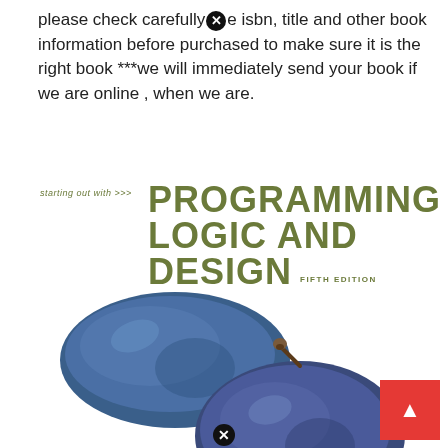please check carefully [X] e isbn, title and other book information before purchased to make sure it is the right book ***we will immediately send your book if we are online , when we are.
[Figure (photo): Book cover of 'Starting Out With Programming Logic and Design, Fifth Edition' featuring two blue plums with a green leaf on a white background.]